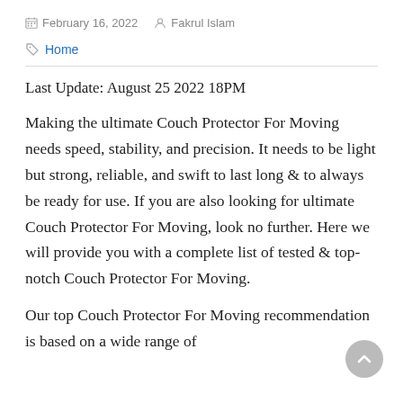February 16, 2022   Fakrul Islam
Home
Last Update: August 25 2022 18PM
Making the ultimate Couch Protector For Moving needs speed, stability, and precision. It needs to be light but strong, reliable, and swift to last long & to always be ready for use. If you are also looking for ultimate Couch Protector For Moving, look no further. Here we will provide you with a complete list of tested & top-notch Couch Protector For Moving.
Our top Couch Protector For Moving recommendation is based on a wide range of